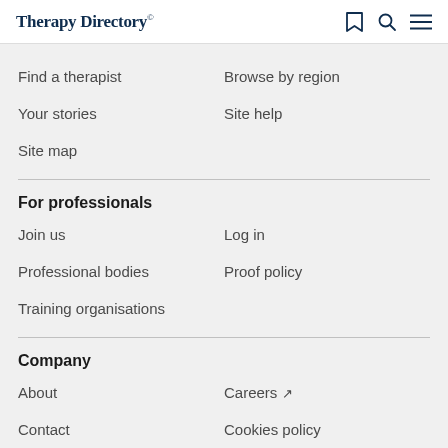Therapy Directory®
Find a therapist
Browse by region
Your stories
Site help
Site map
For professionals
Join us
Log in
Professional bodies
Proof policy
Training organisations
Company
About
Careers ↗
Contact
Cookies policy